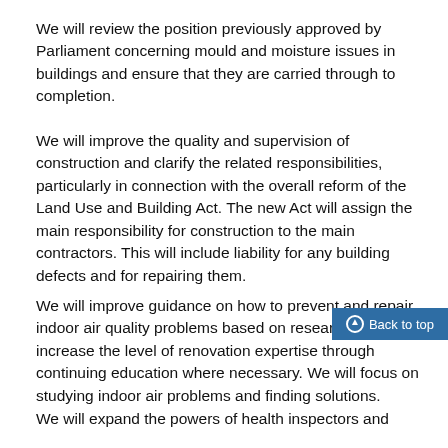We will review the position previously approved by Parliament concerning mould and moisture issues in buildings and ensure that they are carried through to completion.
We will improve the quality and supervision of construction and clarify the related responsibilities, particularly in connection with the overall reform of the Land Use and Building Act. The new Act will assign the main responsibility for construction to the main contractors. This will include liability for any building defects and for repairing them.
We will improve guidance on how to prevent and repair indoor air quality problems based on research. We will increase the level of renovation expertise through continuing education where necessary. We will focus on studying indoor air problems and finding solutions.
We will expand the powers of health inspectors and